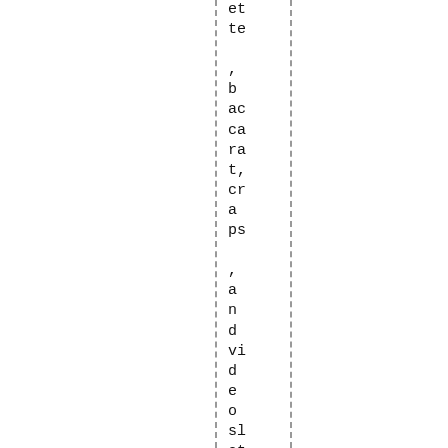et te , b ac ca ra t, cr a ps , a n d vi d e o sl ot s. T h e re q ui re m